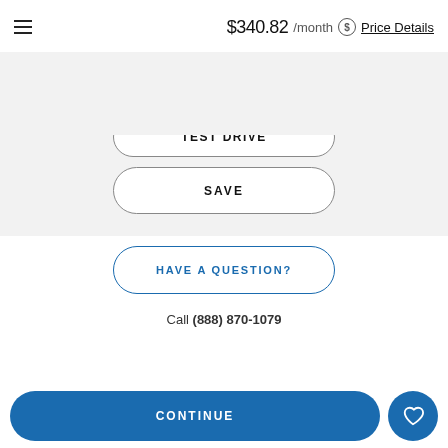$340.82 /month  Price Details
TEST DRIVE
SAVE
HAVE A QUESTION?
Call (888) 870-1079
CONTINUE